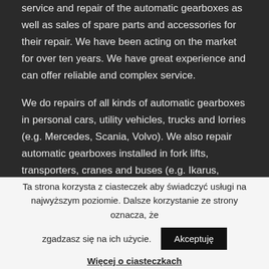service and repair of the automatic gearboxes as well as sales of spare parts and accessories for their repair. We have been acting on the market for over ten years. We have great experience and can offer reliable and complex service.
We do repairs of all kinds of automatic gearboxes in personal cars, utility vehicles, trucks and lorries (e.g. Mercedes, Scania, Volvo). We also repair automatic gearboxes installed in fork lifts, transporters, cranes and buses (e.g. Ikarus, Jelcz, Setra, Daf, Bova). We have great
Ta strona korzysta z ciasteczek aby świadczyć usługi na najwyższym poziomie. Dalsze korzystanie ze strony oznacza, że zgadzasz się na ich użycie.
Akceptuję
Więcej o ciasteczkach